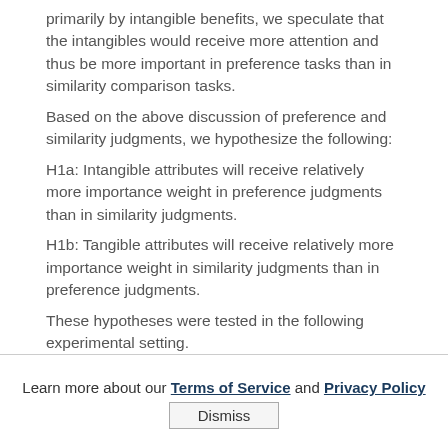primarily by intangible benefits, we speculate that the intangibles would receive more attention and thus be more important in preference tasks than in similarity comparison tasks.
Based on the above discussion of preference and similarity judgments, we hypothesize the following:
H1a: Intangible attributes will receive relatively more importance weight in preference judgments than in similarity judgments.
H1b: Tangible attributes will receive relatively more importance weight in similarity judgments than in preference judgments.
These hypotheses were tested in the following experimental setting.
Learn more about our Terms of Service and Privacy Policy  Dismiss